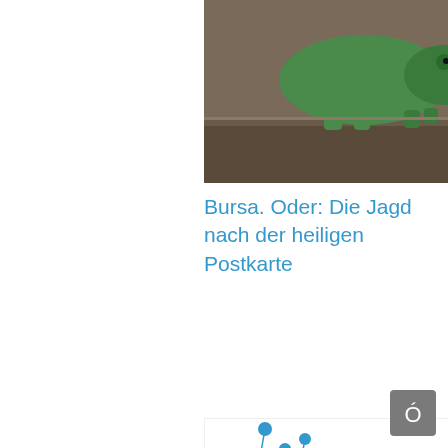[Figure (photo): Photo of a green toy dinosaur/crocodile on a wooden shelf with glass jars in background]
Bursa. Oder: Die Jagd nach der heiligen Postkarte
[Figure (illustration): Decorative illustration of colorful lollipop-like flowers/plants on white background in blue, green, pink, orange, and gray colors]
Immer wieder sonntags #59
[Figure (photo): Photo of autumn orange and red leaves against blue sky]
English
[Figure (other): Scroll to top button with letter Ó]